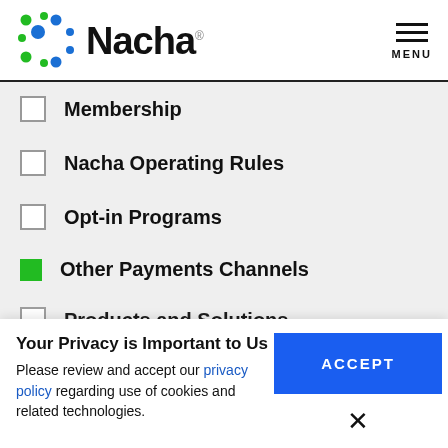[Figure (logo): Nacha logo with colored dots pattern and Nacha wordmark]
Membership
Nacha Operating Rules
Opt-in Programs
Other Payments Channels (checked)
Products and Solutions (partially visible)
Your Privacy is Important to Us
Please review and accept our privacy policy regarding use of cookies and related technologies.